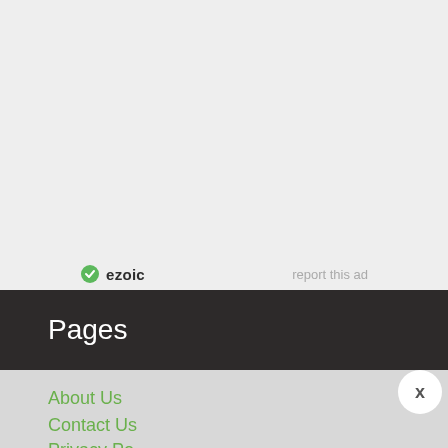[Figure (logo): Ezoic logo with green circular icon and bold text 'ezoic']
report this ad
Pages
About Us
Contact Us
Privacy Policy